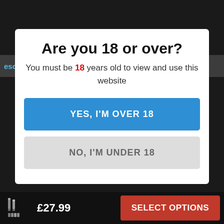escription   Brand   Additional information   Reviews (0)
Are you 18 or over?
You must be 18 years old to view and use this website
YES, I'M OVER 18
NO, I'M UNDER 18
importantly promoting choice.
The Berserker V3 MTL RTA can be easily installed
£27.99
SELECT OPTIONS